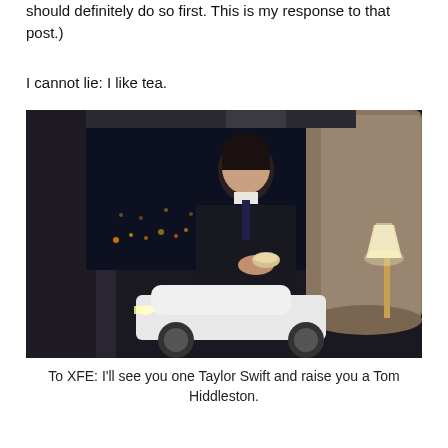should definitely do so first. This is my response to that post.)
I cannot lie: I like tea.
[Figure (photo): A man in a dark suit sitting in a luxury car interior at night, holding a drink, with a white sports car and a lamp visible in the background through a large window showing city lights.]
To XFE: I'll see you one Taylor Swift and raise you a Tom Hiddleston.